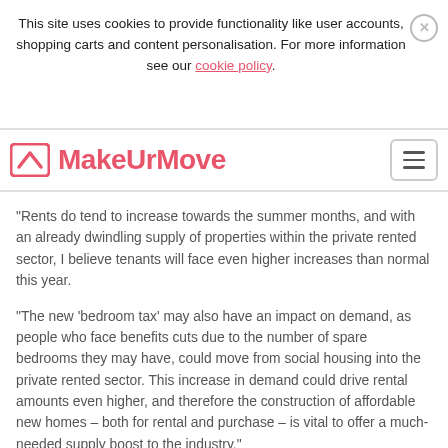This site uses cookies to provide functionality like user accounts, shopping carts and content personalisation. For more information see our cookie policy.
[Figure (logo): MakeUrMove logo with arrow icon in salmon/pink color]
"Rents do tend to increase towards the summer months, and with an already dwindling supply of properties within the private rented sector, I believe tenants will face even higher increases than normal this year.
“The new ‘bedroom tax’ may also have an impact on demand, as people who face benefits cuts due to the number of spare bedrooms they may have, could move from social housing into the private rented sector. This increase in demand could drive rental amounts even higher, and therefore the construction of affordable new homes – both for rental and purchase – is vital to offer a much-needed supply boost to the industry."